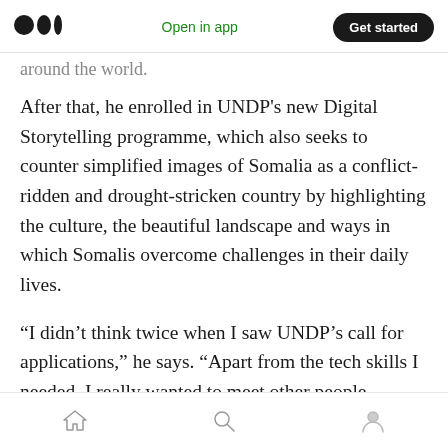Open in app | Get started
around the world.
After that, he enrolled in UNDP's new Digital Storytelling programme, which also seeks to counter simplified images of Somalia as a conflict-ridden and drought-stricken country by highlighting the culture, the beautiful landscape and ways in which Somalis overcome challenges in their daily lives.
“I didn’t think twice when I saw UNDP’s call for applications,” he says. “Apart from the tech skills I needed, I really wanted to meet other people
Home | Search | Profile